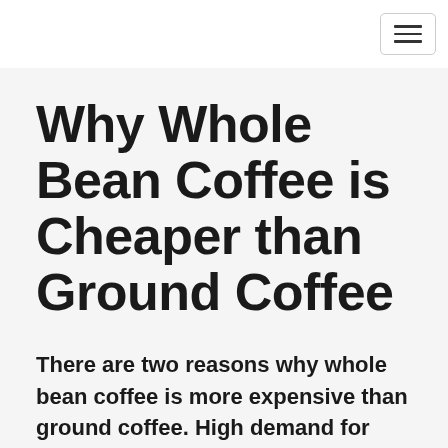[Figure (other): Navigation bar with hamburger menu icon (three horizontal lines) in a rounded rectangle button on the right side]
Why Whole Bean Coffee is Cheaper than Ground Coffee
There are two reasons why whole bean coffee is more expensive than ground coffee. High demand for ground coffee and